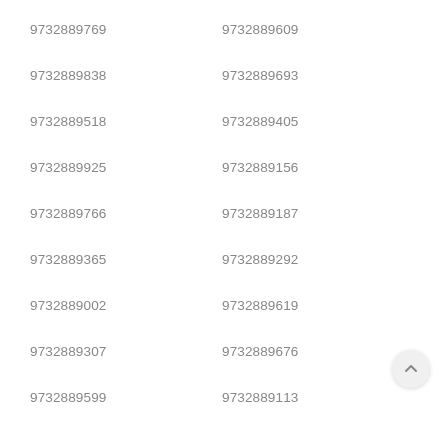9732889769
9732889609
9732889838
9732889693
9732889518
9732889405
9732889925
9732889156
9732889766
9732889187
9732889365
9732889292
9732889002
9732889619
9732889307
9732889676
9732889599
9732889113